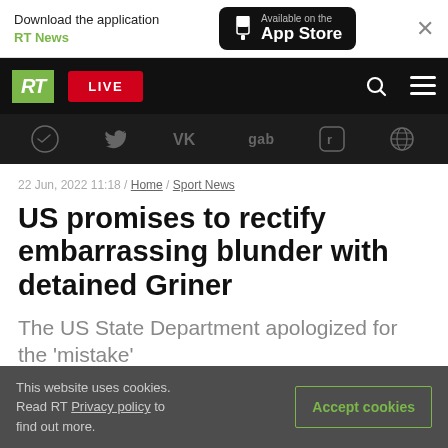[Figure (screenshot): App Store download banner with RT News link and App Store button]
RT logo, LIVE button, search and menu icons navigation bar
[Figure (screenshot): Social media icons bar: Telegram, Twitter, VK, Gab, Rumble, and globe icon]
22 Jun, 2022 11:18 / Home / Sport News
US promises to rectify embarrassing blunder with detained Griner
The US State Department apologized for the 'mistake'
This website uses cookies. Read RT Privacy policy to find out more.
Accept cookies